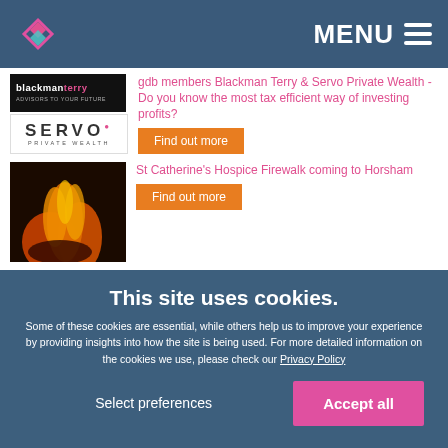MENU
gdb members Blackman Terry & Servo Private Wealth - Do you know the most tax efficient way of investing profits?
Find out more
St Catherine's Hospice Firewalk coming to Horsham
Find out more
GATCOM Weekly Newsletter - January 2020 (2)
This site uses cookies.
Some of these cookies are essential, while others help us to improve your experience by providing insights into how the site is being used. For more detailed information on the cookies we use, please check our Privacy Policy
Select preferences
Accept all